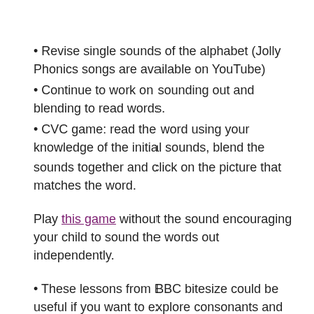• Revise single sounds of the alphabet (Jolly Phonics songs are available on YouTube)
• Continue to work on sounding out and blending to read words.
• CVC game: read the word using your knowledge of the initial sounds, blend the sounds together and click on the picture that matches the word.
Play this game without the sound encouraging your child to sound the words out independently.
• These lessons from BBC bitesize could be useful if you want to explore consonants and vowels to secure the learning done previously at school:
https://www.bbc.co.uk/bitesize/articles/zsnq4xs
https://www.bbc.co.uk/bitesize/articles/zijrbqt